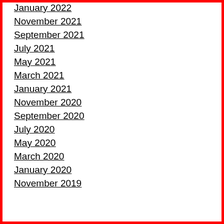January 2022
November 2021
September 2021
July 2021
May 2021
March 2021
January 2021
November 2020
September 2020
July 2020
May 2020
March 2020
January 2020
November 2019